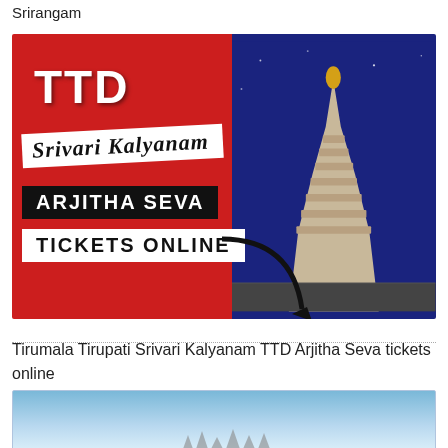Srirangam
[Figure (photo): TTD Srivari Kalyanam Arjitha Seva Tickets Online promotional image with temple gopuram in background, red and dark blue sections with overlay text]
Tirumala Tirupati Srivari Kalyanam TTD Arjitha Seva tickets online
[Figure (photo): Chilkur Balaji temple image with light blue sky background and text 'Chilkur Balaji' with temple structures at bottom]